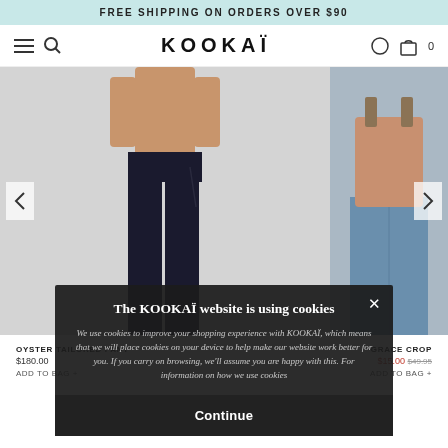FREE SHIPPING ON ORDERS OVER $90
KOOKAÏ
[Figure (photo): E-commerce website screenshot showing two fashion product images side by side. Left: model wearing black wide-leg tailored pants on a light grey background. Right: partial view of a model in a denim/casual crop top. Navigation arrows visible on both sides.]
OYSTER TAILORED PANT
$180.00
ADD TO BAG +
GRACE CROP
$15.00
ADD TO BAG +
The KOOKAÏ website is using cookies
We use cookies to improve your shopping experience with KOOKAI, which means that we will place cookies on your device to help make our website work better for you. If you carry on browsing, we'll assume you are happy with this. For information on how we use cookies
Continue